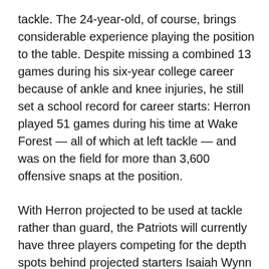tackle. The 24-year-old, of course, brings considerable experience playing the position to the table. Despite missing a combined 13 games during his six-year college career because of ankle and knee injuries, he still set a school record for career starts: Herron played 51 games during his time at Wake Forest — all of which at left tackle — and was on the field for more than 3,600 offensive snaps at the position.
With Herron projected to be used at tackle rather than guard, the Patriots will currently have three players competing for the depth spots behind projected starters Isaiah Wynn (left) and Marcus Cannon (right).